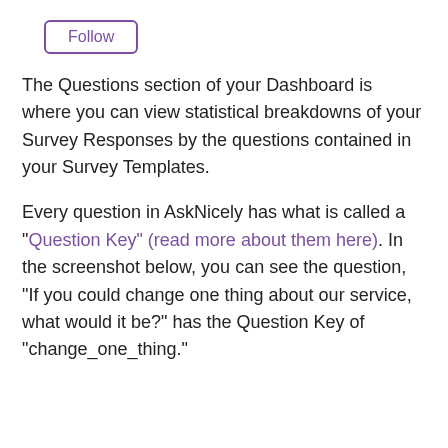Follow
The Questions section of your Dashboard is where you can view statistical breakdowns of your Survey Responses by the questions contained in your Survey Templates.
Every question in AskNicely has what is called a "Question Key" (read more about them here). In the screenshot below, you can see the question, "If you could change one thing about our service, what would it be?" has the Question Key of "change_one_thing."
Every unique Question Key will show up when you click on Dashboard > Questions, and view "All" questions.